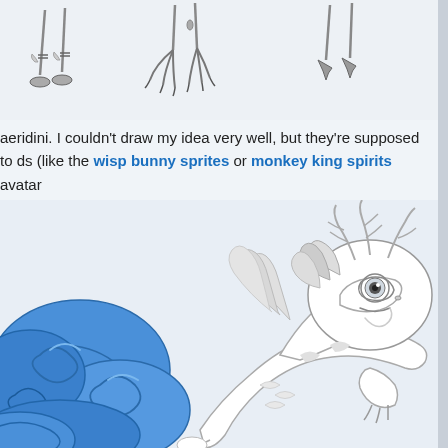[Figure (illustration): Partial view of grayscale sketch figures showing legs and feet of various creature/character poses, arranged in a row at the top of the page]
aeridini. I couldn't draw my idea very well, but they're supposed to ds (like the wisp bunny sprites or monkey king spirits avatar
[Figure (illustration): A white/grayscale Chinese-style dragon with antler-like horns and flowing mane, resting on large blue decorative clouds. The dragon has large expressive eyes and a gentle, cute facial expression. Art style is detailed anime/fantasy illustration.]